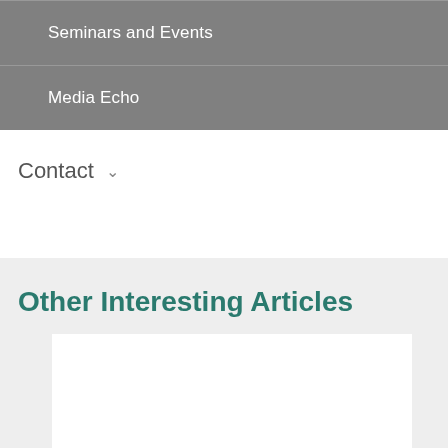Seminars and Events
Media Echo
Contact ∨
Other Interesting Articles
[Figure (other): White rectangular article card placeholder]